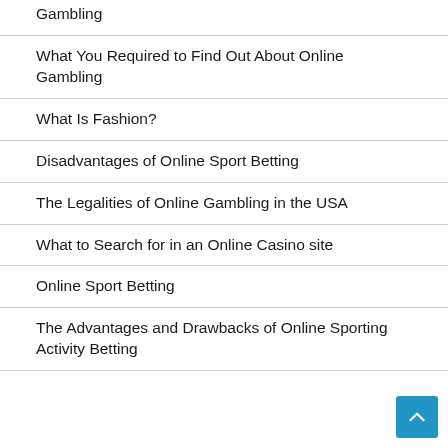Gambling
What You Required to Find Out About Online Gambling
What Is Fashion?
Disadvantages of Online Sport Betting
The Legalities of Online Gambling in the USA
What to Search for in an Online Casino site
Online Sport Betting
The Advantages and Drawbacks of Online Sporting Activity Betting